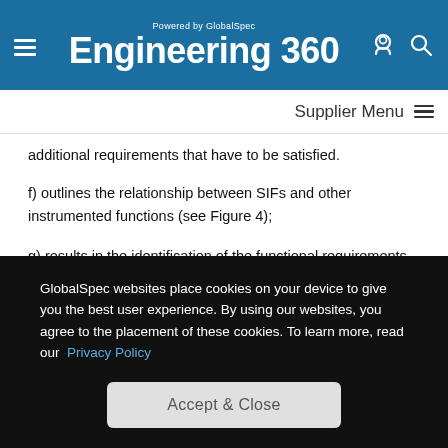Engineering 360 — Powered by GlobalSpec
additional requirements that have to be satisfied.
f) outlines the relationship between SIFs and other instrumented functions (see Figure 4);
g) results in the identification of the functional requirements and safety integrity requirements for the SIF taking into account the risk reduction achieved by other methods;
h) specifies life-cycle requirements for system architecture and
GlobalSpec websites place cookies on your device to give you the best user experience. By using our websites, you agree to the placement of these cookies. To learn more, read our Privacy Policy
Accept & Close